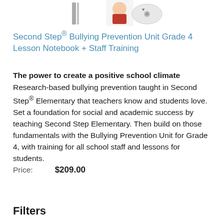[Figure (illustration): Partial product image showing illustrated characters and a CD/DVD, cropped at top of page]
Second Step® Bullying Prevention Unit Grade 4 Lesson Notebook + Staff Training
The power to create a positive school climate Research-based bullying prevention taught in Second Step® Elementary that teachers know and students love. Set a foundation for social and academic success by teaching Second Step Elementary. Then build on those fundamentals with the Bullying Prevention Unit for Grade 4, with training for all school staff and lessons for students.
Price:  $209.00
Filters